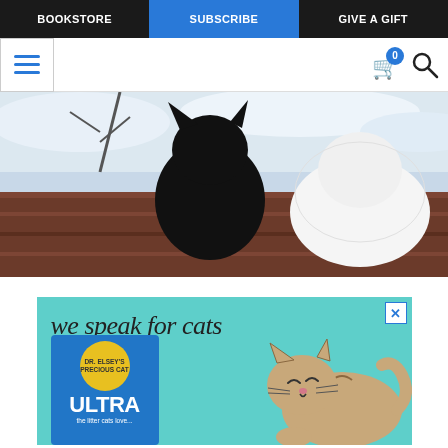BOOKSTORE | SUBSCRIBE | GIVE A GIFT
[Figure (screenshot): Website navigation bar with hamburger menu icon on the left, cart icon with badge showing 0, and search icon on the right]
[Figure (photo): Photo of a black cat silhouette and a white fluffy cat sitting on a wooden deck with snow in the background]
[Figure (illustration): Advertisement for Dr. Elsey's Ultra cat litter with text 'we speak for cats', showing the product box in blue with yellow badge and a cartoon tabby cat illustration on a teal background]